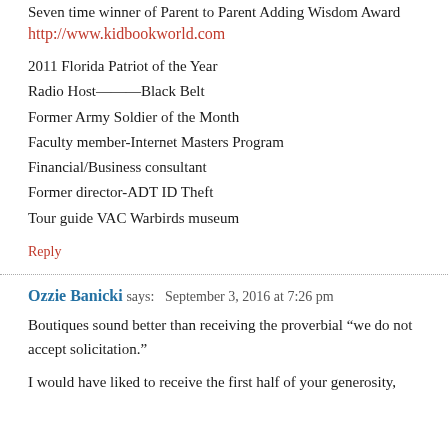Seven time winner of Parent to Parent Adding Wisdom Award
http://www.kidbookworld.com
2011 Florida Patriot of the Year
Radio Host———Black Belt
Former Army Soldier of the Month
Faculty member-Internet Masters Program
Financial/Business consultant
Former director-ADT ID Theft
Tour guide VAC Warbirds museum
Reply
Ozzie Banicki says: September 3, 2016 at 7:26 pm
Boutiques sound better than receiving the proverbial “we do not accept solicitation.”
I would have liked to receive the first half of your generosity,